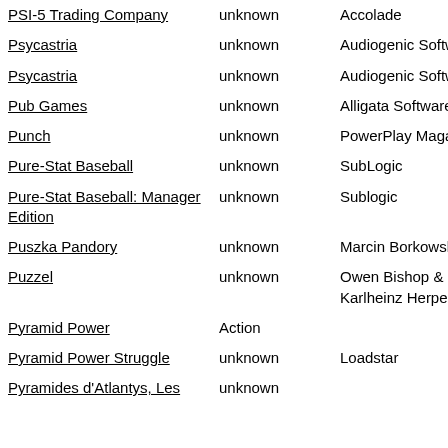| Title | Genre | Publisher |
| --- | --- | --- |
| PSI-5 Trading Company | unknown | Accolade |
| Psycastria | unknown | Audiogenic Software |
| Psycastria | unknown | Audiogenic Software |
| Pub Games | unknown | Alligata Software |
| Punch | unknown | PowerPlay Magazine |
| Pure-Stat Baseball | unknown | SubLogic |
| Pure-Stat Baseball: Manager Edition | unknown | Sublogic |
| Puszka Pandory | unknown | Marcin Borkowski |
| Puzzel | unknown | Owen Bishop & Karlheinz Herpel |
| Pyramid Power | Action |  |
| Pyramid Power Struggle | unknown | Loadstar |
| Pyramides d'Atlantys, Les | unknown |  |